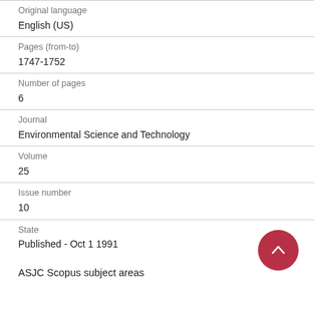Original language
English (US)
Pages (from-to)
1747-1752
Number of pages
6
Journal
Environmental Science and Technology
Volume
25
Issue number
10
State
Published - Oct 1 1991
ASJC Scopus subject areas